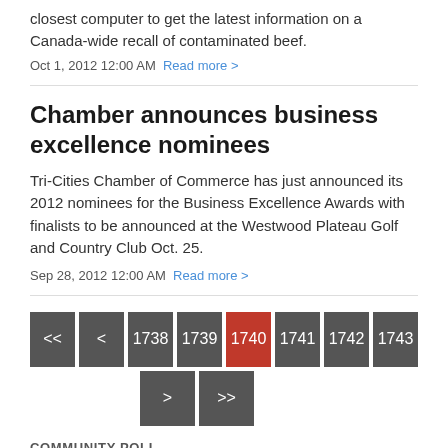closest computer to get the latest information on a Canada-wide recall of contaminated beef.
Oct 1, 2012 12:00 AM Read more >
Chamber announces business excellence nominees
Tri-Cities Chamber of Commerce has just announced its 2012 nominees for the Business Excellence Awards with finalists to be announced at the Westwood Plateau Golf and Country Club Oct. 25.
Sep 28, 2012 12:00 AM Read more >
Pagination: << < 1738 1739 1740 (current) 1741 1742 1743 > >>
COMMUNITY POLL